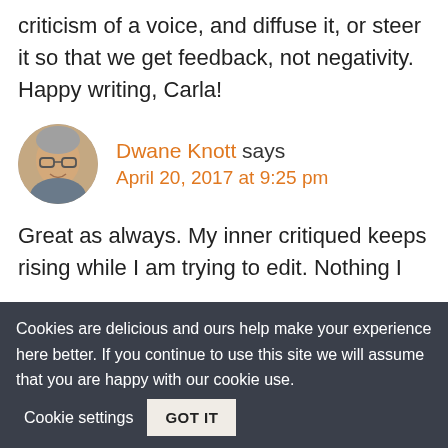criticism of a voice, and diffuse it, or steer it so that we get feedback, not negativity. Happy writing, Carla!
[Figure (photo): Circular avatar photo of Dwane Knott, a man with glasses and short gray hair, smiling.]
Dwane Knott says April 20, 2017 at 9:25 pm
Great as always. My inner critiqued keeps rising while I am trying to edit. Nothing I
Cookies are delicious and ours help make your experience here better. If you continue to use this site we will assume that you are happy with our cookie use. Cookie settings GOT IT